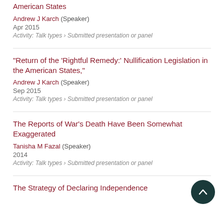American States
Andrew J Karch (Speaker)
Apr 2015
Activity: Talk types › Submitted presentation or panel
“Return of the ‘Rightful Remedy:’ Nullification Legislation in the American States,”
Andrew J Karch (Speaker)
Sep 2015
Activity: Talk types › Submitted presentation or panel
The Reports of War’s Death Have Been Somewhat Exaggerated
Tanisha M Fazal (Speaker)
2014
Activity: Talk types › Submitted presentation or panel
The Strategy of Declaring Independence